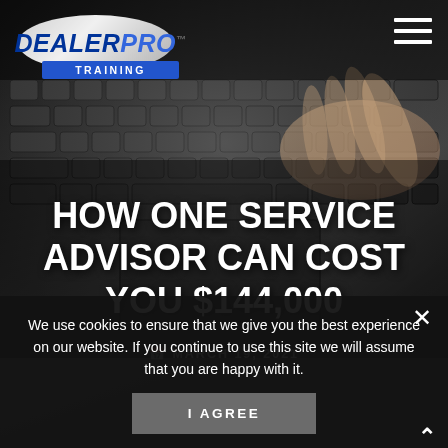[Figure (screenshot): DealerPro Training website screenshot showing logo at top left, hamburger menu at top right, hero image of hands typing on laptop keyboard with dark overlay]
HOW ONE SERVICE ADVISOR CAN COST YOU $144,000
MARCH 19, 2021
We use cookies to ensure that we give you the best experience on our website. If you continue to use this site we will assume that you are happy with it.
I AGREE